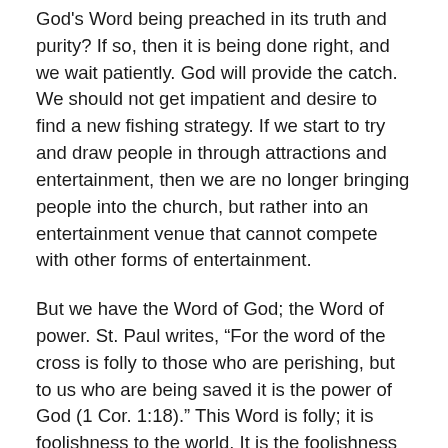God's Word being preached in its truth and purity? If so, then it is being done right, and we wait patiently. God will provide the catch. We should not get impatient and desire to find a new fishing strategy. If we start to try and draw people in through attractions and entertainment, then we are no longer bringing people into the church, but rather into an entertainment venue that cannot compete with other forms of entertainment.
But we have the Word of God; the Word of power. St. Paul writes, “For the word of the cross is folly to those who are perishing, but to us who are being saved it is the power of God (1 Cor. 1:18).” This Word is folly; it is foolishness to the world. It is the foolishness of dropping your nets into the deep after having fished all night and catching nothing.
To those who are perishing, the Word of forgiveness is